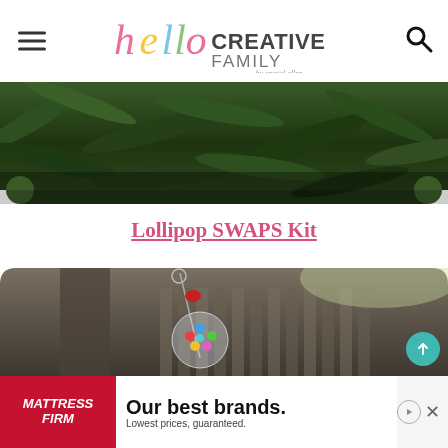hello CREATIVE FAMILY by crystal allen
[Figure (photo): Close-up photo of dark green tropical foliage/leaves with dark background]
Lollipop SWAPS Kit
[Figure (photo): Photo of a lollipop SWAPS kit — a clear ball ornament filled with colorful beads on a safety pin with a red bead on top, outdoors with wooden fence and tree in background]
[Figure (photo): Advertisement banner for Mattress Firm: Our best brands. Lowest prices, guaranteed.]